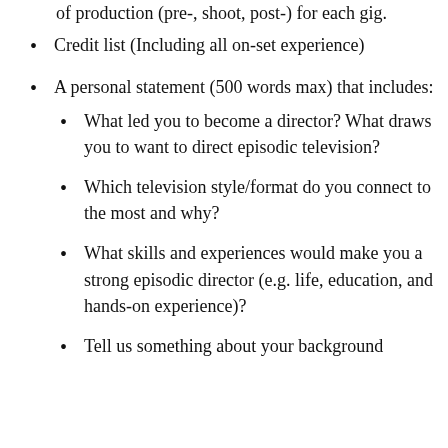of production (pre-, shoot, post-) for each gig.
Credit list (Including all on-set experience)
A personal statement (500 words max) that includes:
What led you to become a director? What draws you to want to direct episodic television?
Which television style/format do you connect to the most and why?
What skills and experiences would make you a strong episodic director (e.g. life, education, and hands-on experience)?
Tell us something about your background